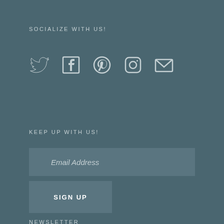SOCIALIZE WITH US!
[Figure (illustration): Row of five social media icons: Twitter bird, Facebook F, Pinterest P, Instagram camera, and Email envelope — all in light teal/grey color on dark teal background]
KEEP UP WITH US!
Email Address
SIGN UP
NEWSLETTER